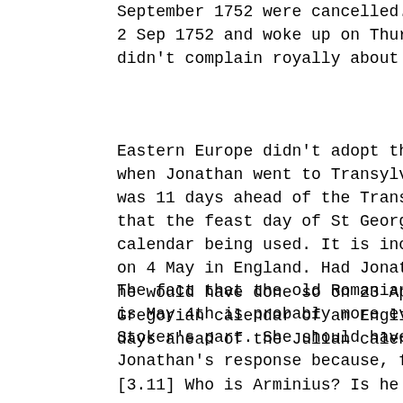September 1752 were cancelled. British people went to bed on Wednesday, 2 Sep 1752 and woke up on Thursday, 14 Sep 1752. They didn't complain royally about being robbed of 11 days.
Eastern Europe didn't adopt the Gregorian calendar until later, so when Jonathan went to Transylvania in the 1890s, England was 11 days ahead of the Transylvanian (Julian) calendar. This means that the feast day of St George falls on 23 April regardless of which calendar being used. It is incorrect to say that St George's Day falls on 4 May in England. Had Jonathan celebrated St George's Day in England he would have done so on 23 April. It's just that Jonathan is using the Gregorian calendar of an Englishman traveling in a country that is 11 days ahead of the Julian calendar in use in Romania.
The fact that the old Romanian lady agrees with Jonathan that the date is May 4th is probably more evidence of some careless research on Stoker's part. She should have been confused or at least surprised by Jonathan's response because, for her, it was still April 23rd.
[3.11] Who is Arminius? Is he a real person?